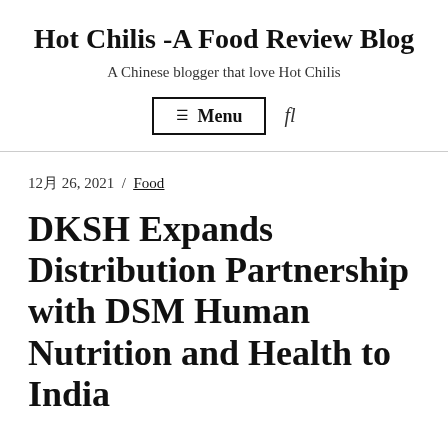Hot Chilis -A Food Review Blog
A Chinese blogger that love Hot Chilis
☰ Menu  fl
12月 26, 2021  /  Food
DKSH Expands Distribution Partnership with DSM Human Nutrition and Health to India